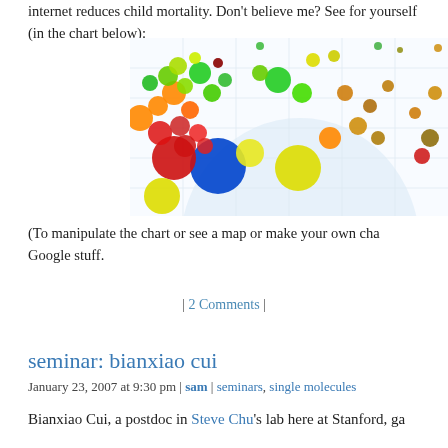internet reduces child mortality. Don't believe me? See for yourself (in the chart below):
[Figure (bubble-chart): A bubble chart showing colorful circles of various sizes scattered across a grid with a light blue watermark shape in the background. Bubbles are in red, orange, yellow, green, blue, and brown colors of varying sizes, clustered more densely in the upper-left area and more sparse toward the right.]
(To manipulate the chart or see a map or make your own cha Google stuff.
| 2 Comments |
seminar: bianxiao cui
January 23, 2007 at 9:30 pm | sam | seminars, single molecules
Bianxiao Cui, a postdoc in Steve Chu's lab here at Stanford, ga